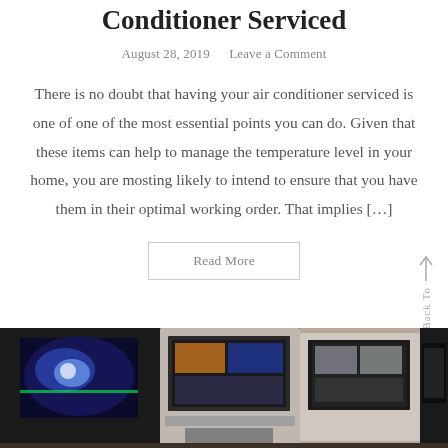Conditioner Serviced
August 28, 2019    Leave a Comment
There is no doubt that having your air conditioner serviced is one of one of the most essential points you can do. Given that these items can help to manage the temperature level in your home, you are mosting likely to intend to ensure that you have them in their optimal working order. That implies […]
Read More
[Figure (photo): Row of vending machines including gaming and snack machines in a room with tan walls]